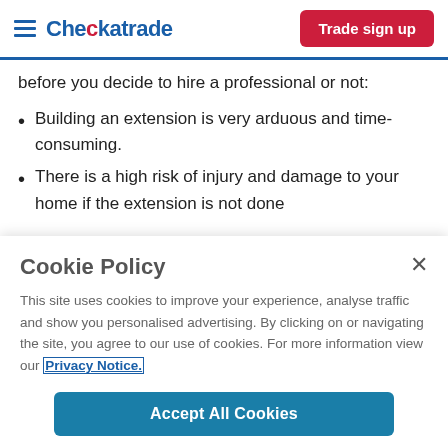Checkatrade | Trade sign up
before you decide to hire a professional or not:
Building an extension is very arduous and time-consuming.
There is a high risk of injury and damage to your home if the extension is not done
Cookie Policy
This site uses cookies to improve your experience, analyse traffic and show you personalised advertising. By clicking on or navigating the site, you agree to our use of cookies. For more information view our Privacy Notice.
Accept All Cookies